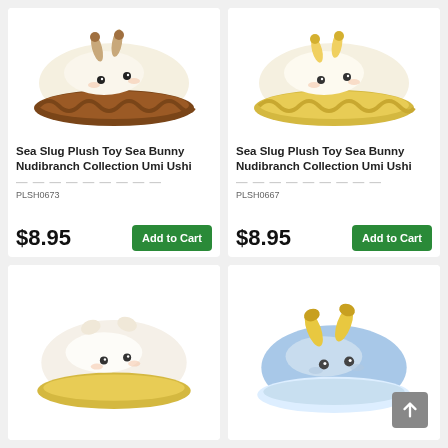[Figure (photo): Sea Slug plush toy - brown/cream nudibranch plush product image]
Sea Slug Plush Toy Sea Bunny Nudibranch Collection Umi Ushi
PLSH0673
$8.95
[Figure (photo): Sea Slug plush toy - yellow/cream nudibranch plush product image]
Sea Slug Plush Toy Sea Bunny Nudibranch Collection Umi Ushi
PLSH0667
$8.95
[Figure (photo): Sea Slug plush toy - white/cream nudibranch with yellow base plush product image]
[Figure (photo): Sea Slug plush toy - blue nudibranch with yellow horns plush product image]